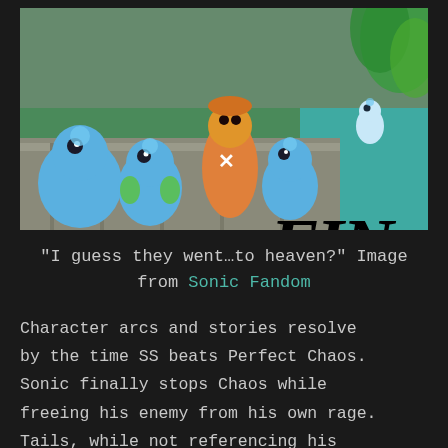[Figure (screenshot): Screenshot from a Sonic Adventure video game showing Tikal and several Chao characters in a garden/outdoor scene. A large italic 'FIN' text is overlaid on the right side of the image.]
"I guess they went…to heaven?" Image from Sonic Fandom
Character arcs and stories resolve by the time SS beats Perfect Chaos. Sonic finally stops Chaos while freeing his enemy from his own rage. Tails, while not referencing his change, gets to help Sonic as a